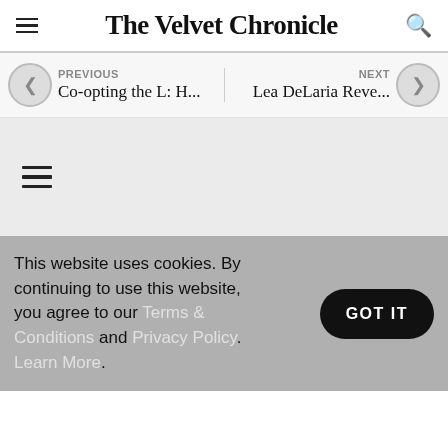The Velvet Chronicle
PREVIOUS
Co-opting the L: H...
NEXT
Lea DeLaria Reve...
[Figure (other): Hamburger menu icon (three horizontal lines) on a gray background section]
This website uses cookies. By continuing to use this website, you agree to our Terms & Conditions and Privacy Policy. Learn More.
GOT IT